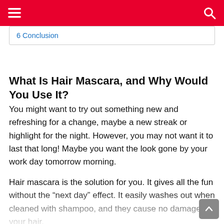6 Conclusion
What Is Hair Mascara, and Why Would You Use It?
You might want to try out something new and refreshing for a change, maybe a new streak or highlight for the night. However, you may not want it to last that long! Maybe you want the look gone by your work day tomorrow morning.
Hair mascara is the solution for you. It gives all the fun without the “next day” effect. It easily washes out when cleaned with shampoo, and they cause no damage to your hair.